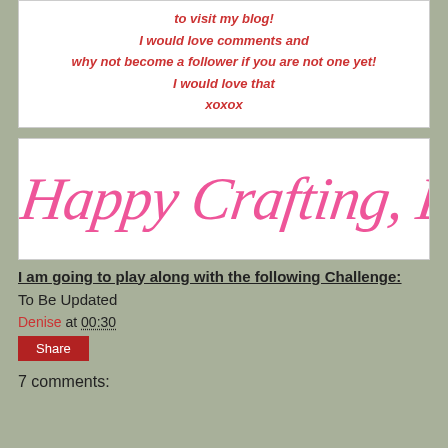to visit my blog! I would love comments and why not become a follower if you are not one yet! I would love that xoxox
[Figure (illustration): Handwritten cursive signature in pink reading 'Happy Crafting, Denise xxx']
I am going to play along with the following Challenge:
To Be Updated
Denise at 00:30
Share
7 comments: